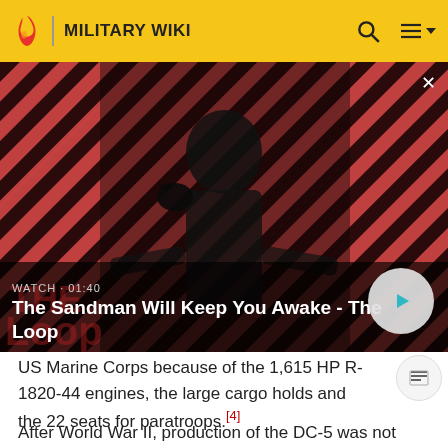MILITARY WIKI
[Figure (screenshot): Video thumbnail showing a dark-dressed figure with a raven on shoulder against a red and black diagonal striped background. Overlay text reads WATCH · 01:40 and title The Sandman Will Keep You Awake - The Loop with a play button.]
US Marine Corps because of the 1,615 HP R-1820-44 engines, the large cargo holds and the 22 seats for paratroops.[4]
After World War II, production of the DC-5 was not resumed because of the abundance of surplus DC-3/C-